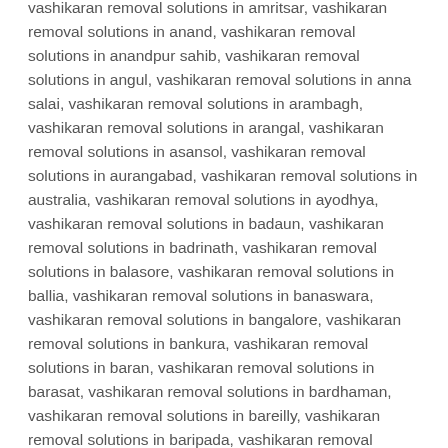vashikaran removal solutions in amritsar, vashikaran removal solutions in anand, vashikaran removal solutions in anandpur sahib, vashikaran removal solutions in angul, vashikaran removal solutions in anna salai, vashikaran removal solutions in arambagh, vashikaran removal solutions in arangal, vashikaran removal solutions in asansol, vashikaran removal solutions in aurangabad, vashikaran removal solutions in australia, vashikaran removal solutions in ayodhya, vashikaran removal solutions in badaun, vashikaran removal solutions in badrinath, vashikaran removal solutions in balasore, vashikaran removal solutions in ballia, vashikaran removal solutions in banaswara, vashikaran removal solutions in bangalore, vashikaran removal solutions in bankura, vashikaran removal solutions in baran, vashikaran removal solutions in barasat, vashikaran removal solutions in bardhaman, vashikaran removal solutions in bareilly, vashikaran removal solutions in baripada, vashikaran removal solutions in barnala, vashikaran removal solutions in barrackpore, vashikaran removal solutions in barwani, vashikaran removal solutions in basti, vashikaran removal solutions in beawar